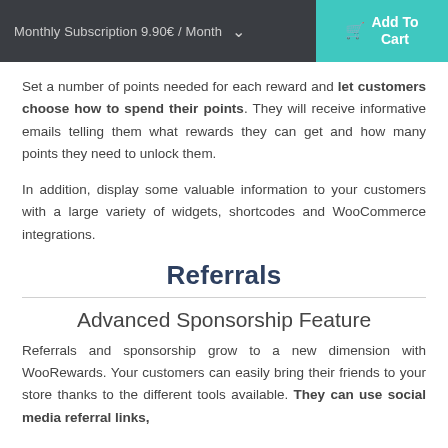Monthly Subscription 9.90€ / Month   Add To Cart
Set a number of points needed for each reward and let customers choose how to spend their points. They will receive informative emails telling them what rewards they can get and how many points they need to unlock them.
In addition, display some valuable information to your customers with a large variety of widgets, shortcodes and WooCommerce integrations.
Referrals
Advanced Sponsorship Feature
Referrals and sponsorship grow to a new dimension with WooRewards. Your customers can easily bring their friends to your store thanks to the different tools available. They can use social media referral links,